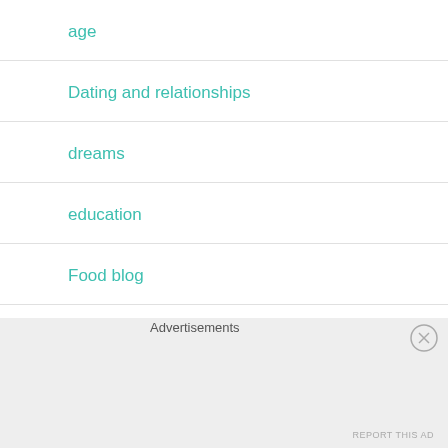age
Dating and relationships
dreams
education
Food blog
goals
Advertisements